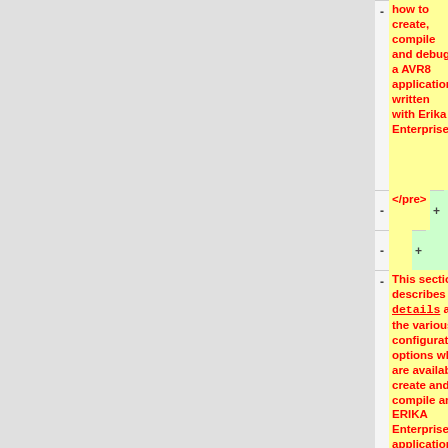how to create, compile and debug a AVR8 application written with Erika Enterprise.
</pre>
(empty row)
This section describes the details about the various configuration options which are available to create and compile an ERIKA Enterprise application for a AVR8 microcontroller.
(empty row)
<pre>
Note: For a complete description of all the OIL parameters, please refer to the RT-Druid reference